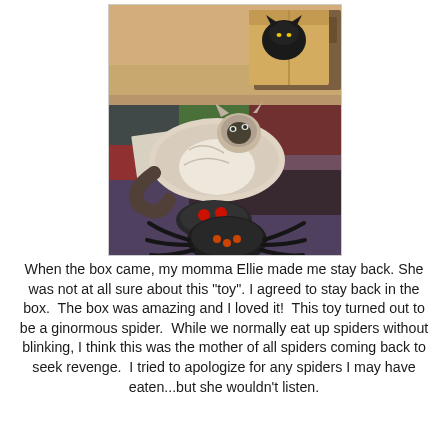[Figure (photo): A fluffy Ragdoll/Siamese cat lying on a colorful rug near a cardboard box, with a black cat visible in the background box. In the foreground is a large black remote-controlled spider toy with red buttons/lights on top.]
When the box came, my momma Ellie made me stay back. She was not at all sure about this "toy". I agreed to stay back in the box. The box was amazing and I loved it! This toy turned out to be a ginormous spider. While we normally eat up spiders without blinking, I think this was the mother of all spiders coming back to seek revenge. I tried to apologize for any spiders I may have eaten...but she wouldn't listen.